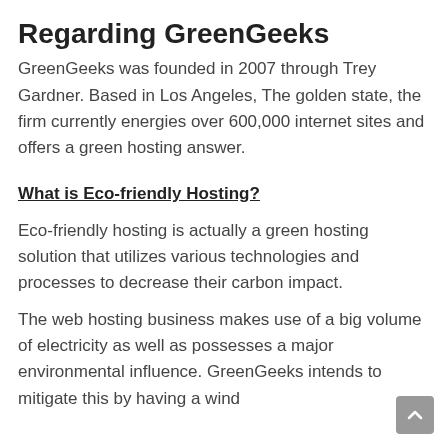Regarding GreenGeeks
GreenGeeks was founded in 2007 through Trey Gardner. Based in Los Angeles, The golden state, the firm currently energies over 600,000 internet sites and offers a green hosting answer.
What is Eco-friendly Hosting?
Eco-friendly hosting is actually a green hosting solution that utilizes various technologies and processes to decrease their carbon impact.
The web hosting business makes use of a big volume of electricity as well as possesses a major environmental influence. GreenGeeks intends to mitigate this by having a wind…